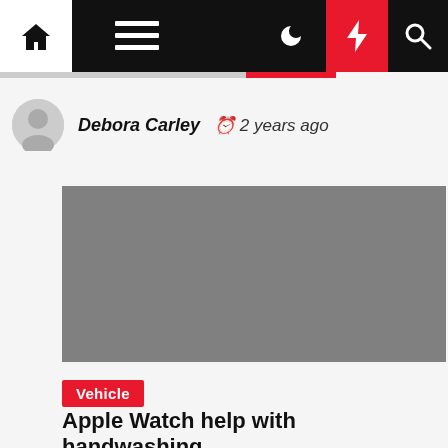Navigation bar with home, menu, dark mode, bolt/flash, and search icons
Debora Carley  2 years ago
[Figure (photo): Gray placeholder image for article]
Vehicle
Apple Watch help with handwashing